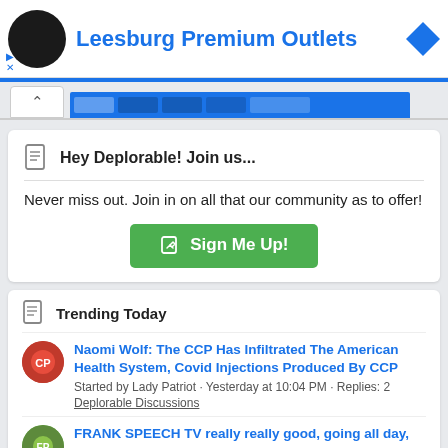[Figure (screenshot): Ad banner for Leesburg Premium Outlets with avatar and title]
[Figure (screenshot): Browser tab/collapse bar with blue stripe and navigation tabs]
Hey Deplorable! Join us...
Never miss out. Join in on all that our community as to offer!
Sign Me Up!
Trending Today
Naomi Wolf: The CCP Has Infiltrated The American Health System, Covid Injections Produced By CCP
Started by Lady Patriot · Yesterday at 10:04 PM · Replies: 2
Deplorable Discussions
FRANK SPEECH TV really really good, going all day, are you watching??